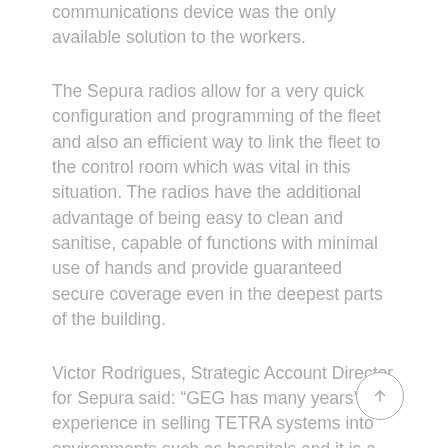communications device was the only available solution to the workers.
The Sepura radios allow for a very quick configuration and programming of the fleet and also an efficient way to link the fleet to the control room which was vital in this situation. The radios have the additional advantage of being easy to clean and sanitise, capable of functions with minimal use of hands and provide guaranteed secure coverage even in the deepest parts of the building.
Victor Rodrigues, Strategic Account Director for Sepura said: “GEG has many years’ experience in selling TETRA systems into environments such as hospitals and it is a tribute to their dedication that the system was up running so quickly to support the